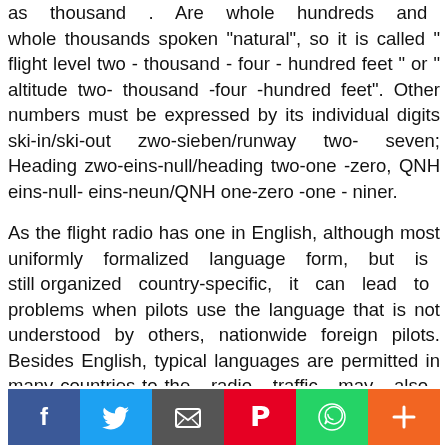as thousand . Are whole hundreds and whole thousands spoken "natural", so it is called " flight level two - thousand - four - hundred feet " or " altitude two- thousand -four -hundred feet". Other numbers must be expressed by its individual digits ski-in/ski-out zwo-sieben/runway two- seven; Heading zwo-eins-null/heading two-one -zero, QNH eins-null-eins-neun/QNH one-zero -one - niner.
As the flight radio has one in English, although most uniformly formalized language form, but is still organized country-specific, it can lead to problems when pilots use the language that is not understood by others, nationwide foreign pilots. Besides English, typical languages are permitted in many countries to the radio traffic may also occur in these languages
[Figure (other): Social media sharing buttons: Facebook (blue), Twitter (light blue), Email/envelope (dark grey), Pinterest (red), WhatsApp (green), More/plus (orange)]